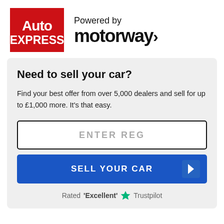[Figure (logo): Auto Express logo — red background with white bold text 'Auto EXPRESS']
[Figure (logo): Powered by motorway> logo in black text]
Need to sell your car?
Find your best offer from over 5,000 dealers and sell for up to £1,000 more. It's that easy.
ENTER REG
SELL YOUR CAR
Rated 'Excellent' ★ Trustpilot